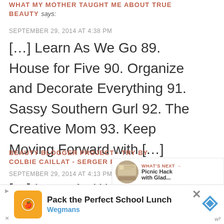WHAT MY MOTHER TAUGHT ME ABOUT TRUE BEAUTY says:
SEPTEMBER 29, 2014 AT 4:38 PM
[…] Learn As We Go 89. House for Five 90. Organize and Decorate Everything 91. Sassy Southern Gurl 92. The Creative Mom 93. Keep Moving Forward with […]
BEAUTY BLOGGER PROJECT - TRY BY COLBIE CAILLAT - SERGER PEPPER says:
SEPTEMBER 29, 2014 AT 4:13 PM
[…] Learn As We Go 89. House for Five
[Figure (infographic): Heart like button (teal circle with heart icon) and share button (circle with share icon), with like count of 1]
[Figure (infographic): What's Next widget showing thumbnail image and text 'Picnic Hack with Glad...']
[Figure (infographic): Ad banner: Pack the Perfect School Lunch - Wegmans advertisement with orange logo, blue diamond, close X, and WordAds wp logo]